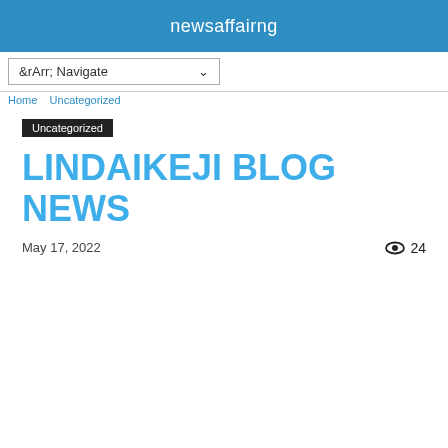newsaffairng
&rArr; Navigate
Home   Uncategorized
Uncategorized
LINDAIKEJI BLOG NEWS
May 17, 2022   👁 24